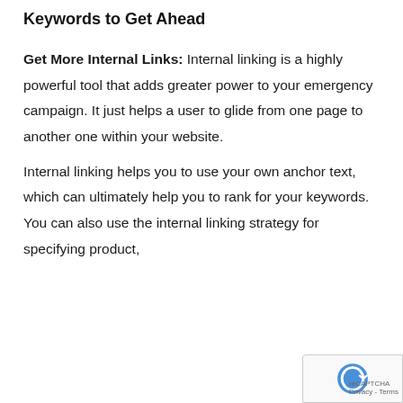Keywords to Get Ahead
Get More Internal Links: Internal linking is a highly powerful tool that adds greater power to your emergency campaign. It just helps a user to glide from one page to another one within your website.
Internal linking helps you to use your own anchor text, which can ultimately help you to rank for your keywords. You can also use the internal linking strategy for specifying product,